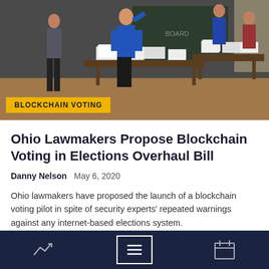[Figure (photo): Indoor scene with people standing and tables with stacked materials, appears to be a voting or training event]
BLOCKCHAIN VOTING
Ohio Lawmakers Propose Blockchain Voting in Elections Overhaul Bill
Danny Nelson  May 6, 2020
Ohio lawmakers have proposed the launch of a blockchain voting pilot in spite of security experts' repeated warnings against any internet-based elections system.
[Figure (infographic): Bottom navigation bar with three icons: trending/chart icon, menu/list icon (active, highlighted with white border), and calendar icon]